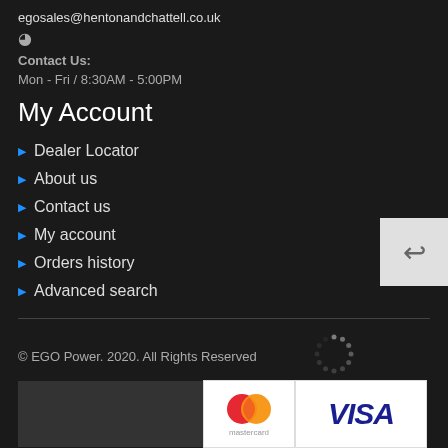egosales@hentonandchattell.co.uk
⊙
Contact Us:
Mon - Fri / 8:30AM - 5:00PM
My Account
Dealer Locator
About us
Contact us
My account
Orders history
Advanced search
[Figure (other): Loading spinner - circular arrangement of dots]
© EGO Power. 2020. All Rights Reserved
[Figure (other): Payment icons: dark box placeholder, Mastercard logo, Visa logo]